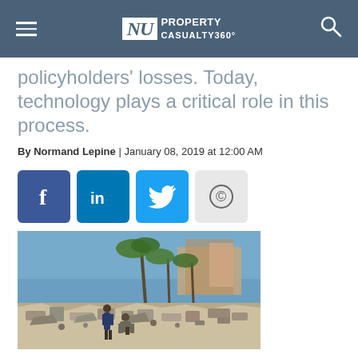NU Property Casualty 360°
policyholders' losses. Today, technology plays a critical role in this process.
By Normand Lepine | January 08, 2019 at 12:00 AM
[Figure (infographic): Social sharing buttons: Facebook, LinkedIn, Twitter, and a copyright/copy button]
[Figure (photo): People sifting through debris and destruction after a natural disaster, with palm trees and damaged buildings in the background]
Natural disasters such as hurricanes, flooding and wildfires